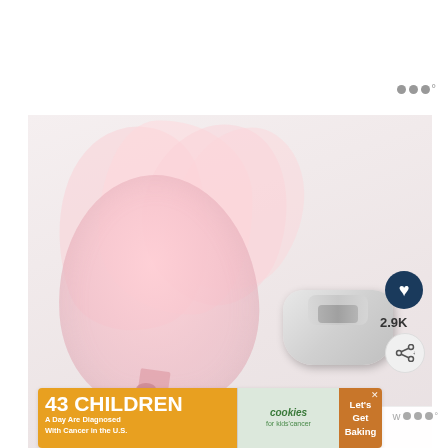[Figure (photo): Photograph of a pink organza drawstring favor bag fanned open next to a tape dispenser on a white surface. A like button (heart icon, dark blue circle) with count '2.9K' and a share button are overlaid on the right side. A 'WHAT'S NEXT' overlay in the bottom-right corner shows a thumbnail and text 'Free Printable Tags For Yo...'. Watermark 'www.ab...' visible at bottom center.]
[Figure (infographic): Advertisement banner: '43 CHILDREN A Day Are Diagnosed With Cancer in the U.S.' with Cookies for Kids' Cancer logo and 'Let's Get Baking' text on orange/brown background.]